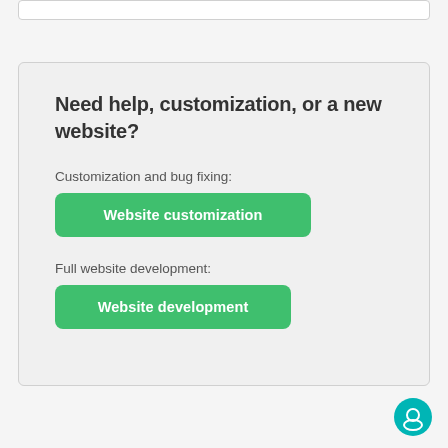Need help, customization, or a new website?
Customization and bug fixing:
Website customization
Full website development:
Website development